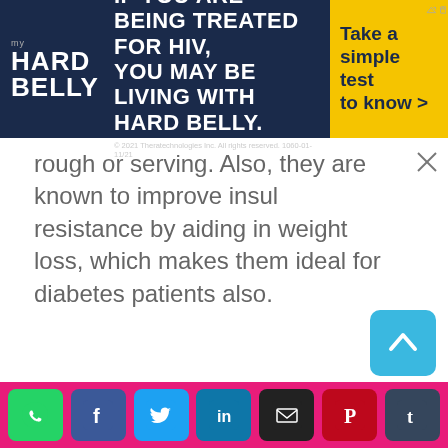[Figure (screenshot): Advertisement banner for 'My Hard Belly' HIV treatment awareness campaign. Dark navy background with white bold text: 'IF YOU ARE BEING TREATED FOR HIV, YOU MAY BE LIVING WITH HARD BELLY.' Yellow right panel with dark text: 'Take a simple test to know >' and logo on left side. Copyright: © 2021 Theratechnologies Inc. All rights reserved. 1060-01-11/21]
rough or serving. Also, they are known to improve insulin resistance by aiding in weight loss, which makes them ideal for diabetes patients also.
[Figure (screenshot): Social sharing bar at bottom with whatsapp, facebook, twitter, linkedin, email, pinterest, tumblr icons on pink/magenta background. Back-to-top blue button above.]